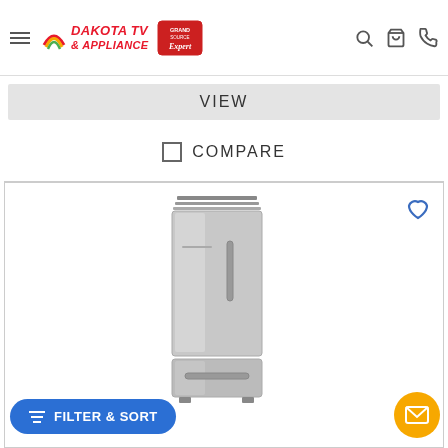Dakota TV & Appliance — Store website header with logo, search, cart, and phone icons
VIEW
COMPARE
[Figure (photo): Stainless steel bottom-freezer refrigerator product photo]
FILTER & SORT